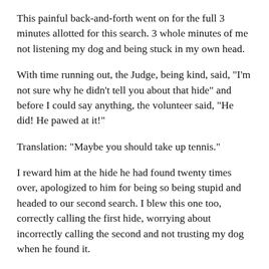This painful back-and-forth went on for the full 3 minutes allotted for this search. 3 whole minutes of me not listening my dog and being stuck in my own head.
With time running out, the Judge, being kind, said, "I'm not sure why he didn't tell you about that hide" and before I could say anything, the volunteer said, "He did! He pawed at it!"
Translation: "Maybe you should take up tennis."
I reward him at the hide he had found twenty times over, apologized to him for being so being stupid and headed to our second search. I blew this one too, correctly calling the first hide, worrying about incorrectly calling the second and not trusting my dog when he found it.
Once again, I rewarded him at the correct hide, thanked the Judge, packed up our stuff and went home.
The whole ride home I was seriously thinking, "I need to give this up."